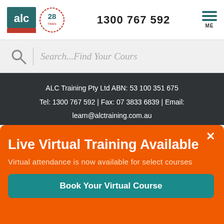[Figure (logo): ALC Training logo with teal/green square with 'alc' text and red bar below, plus a '28 Years' anniversary badge]
1300 767 592
[Figure (other): Hamburger menu icon with three teal lines and 'ME' text below]
Search...Find Your Course
ALC Training Pty Ltd ABN: 53 100 351 675
Tel: 1300 767 592 | Fax: 07 3833 6839 | Email:
learn@alctraining.com.au
Live Virtual Training Available
Virtual attendance is now available for select courses
Book Your Virtual Course